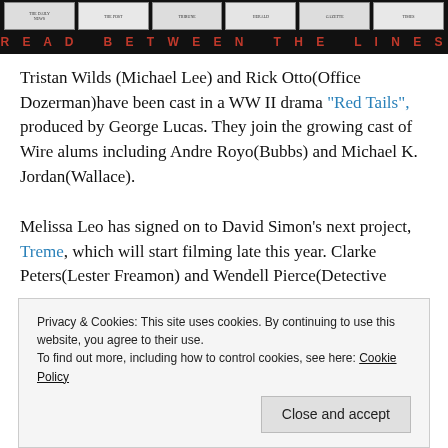[Figure (illustration): Black banner with newspaper images across the top and red text reading 'READ BETWEEN THE LINES' in spaced capital letters at the bottom.]
Tristan Wilds (Michael Lee) and Rick Otto(Office Dozerman)have been cast in a WW II drama "Red Tails", produced by George Lucas. They join the growing cast of Wire alums including Andre Royo(Bubbs) and Michael K. Jordan(Wallace).
Melissa Leo has signed on to David Simon's next project, Treme, which will start filming late this year. Clarke Peters(Lester Freamon) and Wendell Pierce(Detective
Privacy & Cookies: This site uses cookies. By continuing to use this website, you agree to their use.
To find out more, including how to control cookies, see here: Cookie Policy